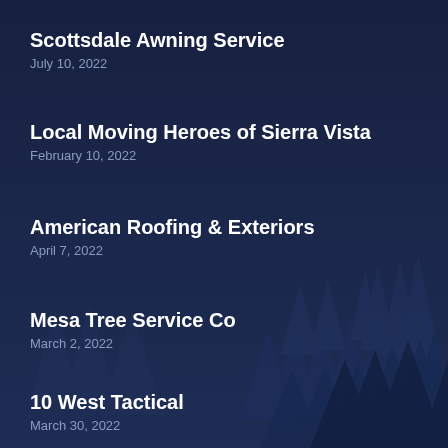[Figure (illustration): Dark navy blue background with silhouettes of pine/spruce trees arranged in layers across the lower-right portion of the image, creating a misty forest scene.]
Scottsdale Awning Service
July 10, 2022
Local Moving Heroes of Sierra Vista
February 10, 2022
American Roofing & Exteriors
April 7, 2022
Mesa Tree Service Co
March 2, 2022
10 West Tactical
March 30, 2022